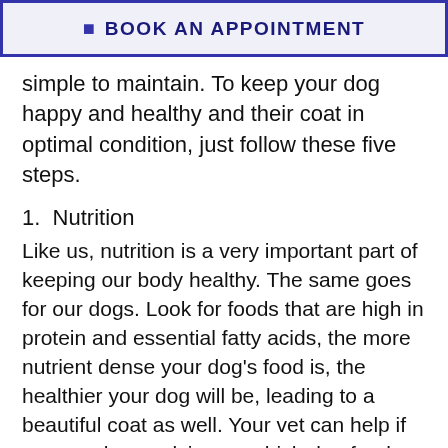BOOK AN APPOINTMENT
simple to maintain. To keep your dog happy and healthy and their coat in optimal condition, just follow these five steps.
1.  Nutrition
Like us, nutrition is a very important part of keeping our body healthy. The same goes for our dogs. Look for foods that are high in protein and essential fatty acids, the more nutrient dense your dog's food is, the healthier your dog will be, leading to a beautiful coat as well. Your vet can help if you need any advice on which dog food would suit your furry friends needs best.
2.  Regular grooming
There is a variety of grooming options that can be considered. You may choose to use a private pet